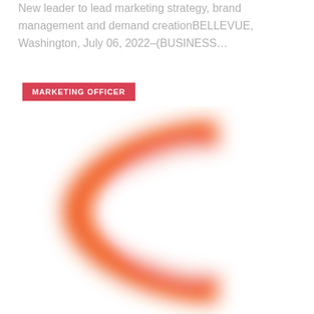New leader to lead marketing strategy, brand management and demand creationBELLEVUE, Washington, July 06, 2022–(BUSINESS…
MARKETING OFFICER
[Figure (logo): Large blurred orange letter C logo on white background]